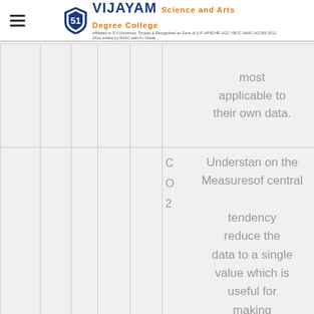VIJAYAM Science and Arts Degree College
|  |  |  |  |  | CO | Content |
| --- | --- | --- | --- | --- | --- | --- |
|  |  |  |  |  |  | most applicable to their own data. |
|  |  |  |  |  | C O 2 | Understan on the Measures of central tendency reduce the data to a single value which is useful for making |